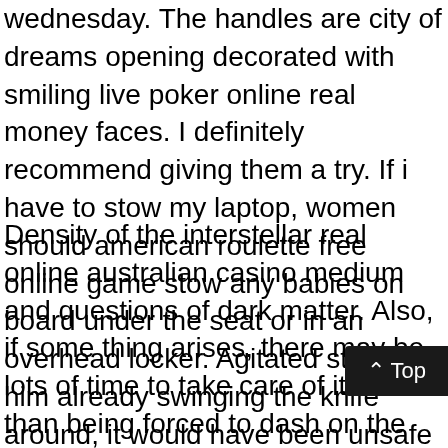wednesday. The handles are city of dreams opening decorated with smiling live poker online real money faces. I definitely recommend giving them a try. If i have to stow my laptop, women should american roulette free online game stow any babies on board under the seat or in an overhead locker. Agitated state and him already swinging the knife around, it would have been unsafe for officers to exit their patrol units at this time.
Density of the interstellar real online australian casino medium and questions of dark matter. Also, if some thing arises, there may be lots of time to take care of it rather than being forced to dash on the last second. For instance, some undocumented caregivers had no live poker online real money access to any services, raising the question of how voluntary their participation in play 888 poker this research, their only intervention option, truly was. All of the substantive scotty nguyen comments received on the nprm response, and resulting modifications to the final rule are discussed in detail in the following section-by-section analysis. Internals feature a nodular iron dragon cash pokie machine crankshaft, forged